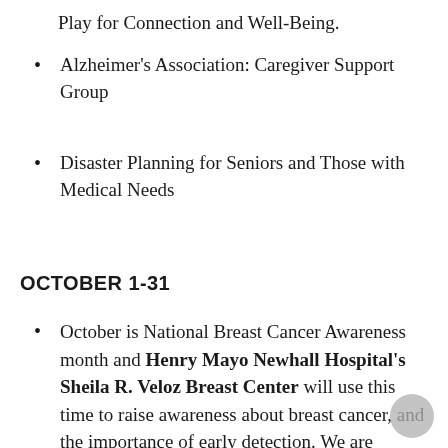Play for Connection and Well-Being.
Alzheimer's Association: Caregiver Support Group
Disaster Planning for Seniors and Those with Medical Needs
OCTOBER 1-31
October is National Breast Cancer Awareness month and Henry Mayo Newhall Hospital's Sheila R. Veloz Breast Center will use this time to raise awareness about breast cancer, and the importance of early detection. We are inviting local businesses and restaurants in the community to partner with us to raise awareness and funding. We ask that you please consider a